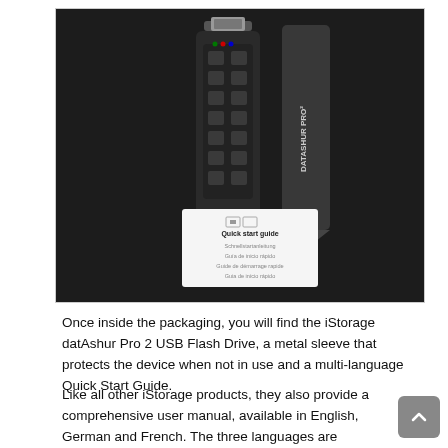[Figure (photo): Photo of iStorage datAshur Pro 2 USB Flash Drive with its metal sleeve (cap) and a Quick Start Guide card, all laid out on a dark background.]
Once inside the packaging, you will find the iStorage datAshur Pro 2 USB Flash Drive, a metal sleeve that protects the device when not in use and a multi-language Quick Start Guide.
Like all other iStorage products, they also provide a comprehensive user manual, available in English, German and French. The three languages are combined into one manual that